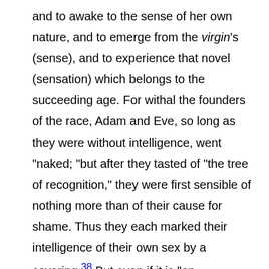and to awake to the sense of her own nature, and to emerge from the virgin's (sense), and to experience that novel (sensation) which belongs to the succeeding age. For withal the founders of the race, Adam and Eve, so long as they were without intelligence, went "naked; "but after they tasted of "the tree of recognition," they were first sensible of nothing more than of their cause for shame. Thus they each marked their intelligence of their own sex by a covering.[38] But even if it is "on